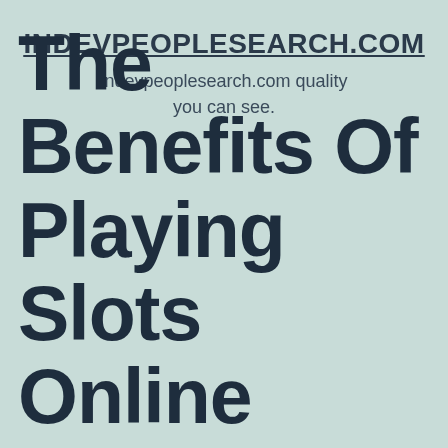INDEVPEOPLESEARCH.COM
indevpeoplesearch.com quality you can see.
The Benefits Of Playing Slots Online